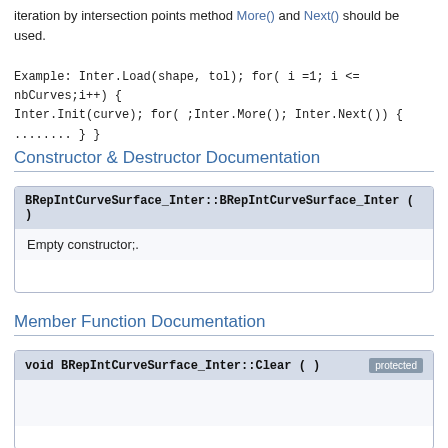iteration by intersection points method More() and Next() should be used.
Example: Inter.Load(shape, tol); for( i =1; i <= nbCurves;i++) { Inter.Init(curve); for( ;Inter.More(); Inter.Next()) { ........ } }
Constructor & Destructor Documentation
BRepIntCurveSurface_Inter::BRepIntCurveSurface_Inter ( )
Empty constructor;.
Member Function Documentation
void BRepIntCurveSurface_Inter::Clear ( )   protected